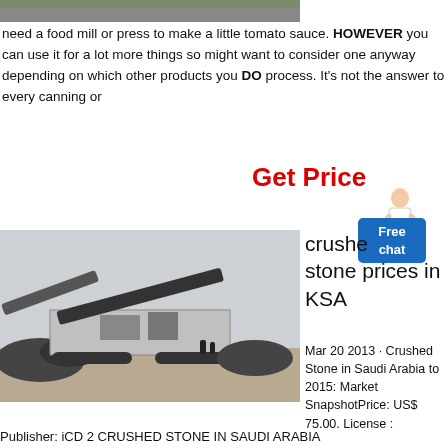[Figure (photo): Partial top image of food processing or garden scene, cropped at top of page]
need a food mill or press to make a little tomato sauce. HOWEVER you can use it for a lot more things so might want to consider one anyway depending on which other products you DO process. It's not the answer to every canning or
Get Price
[Figure (photo): Large mobile stone crusher machine in an industrial/quarry setting with piles of crushed stone around it]
crushed stone prices in KSA
Mar 20 2013 · Crushed Stone in Saudi Arabia to 2015: Market SnapshotPrice: US$ 75.00. License :
Publisher: iCD 2 CRUSHED STONE IN SAUDI ARABIA